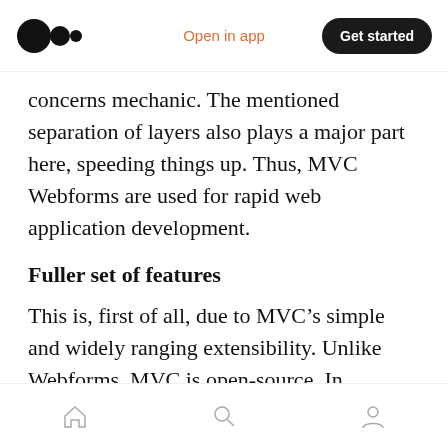Open in app | Get started
concerns mechanic. The mentioned separation of layers also plays a major part here, speeding things up. Thus, MVC Webforms are used for rapid web application development.
Fuller set of features
This is, first of all, due to MVC’s simple and widely ranging extensibility. Unlike Webforms, MVC is open-source. In particular, it can be easily, seamlessly integrated with client-side toolkits (rich UI tools) like JQuery and other JavaScript frameworks. And with web applications
Home Search Profile